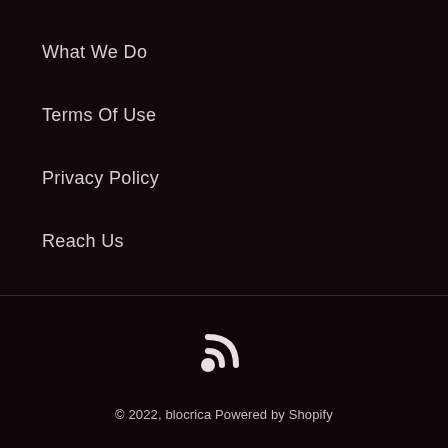What We Do
Terms Of Use
Privacy Policy
Reach Us
[Figure (illustration): RSS feed icon in white]
© 2022, blocrica Powered by Shopify